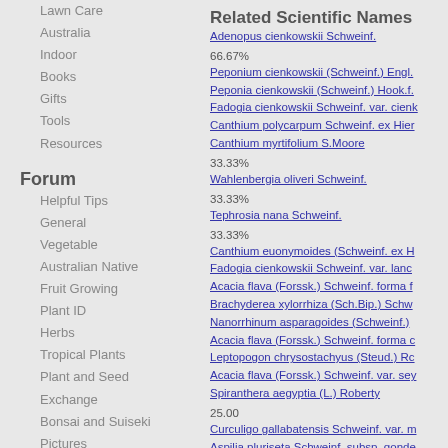Lawn Care
Australia
Indoor
Books
Gifts
Tools
Resources
Forum
Helpful Tips
General
Vegetable
Australian Native
Fruit Growing
Plant ID
Herbs
Tropical Plants
Plant and Seed Exchange
Bonsai and Suiseki
Pictures
Orchid
Hydroponics
Water
News and Updates
Plants
Roses
Plant Propagation
Related Scientific Names
Adenopus cienkowskii Schweinf. 66.67%
Peponium cienkowskii (Schweinf.) Engl.
Peponia cienkowskii (Schweinf.) Hook.f.
Fadogia cienkowskii Schweinf. var. cienk
Canthium polycarpum Schweinf. ex Hier
Canthium myrtifolium S.Moore 33.33%
Wahlenbergia oliveri Schweinf. 33.33%
Tephrosia nana Schweinf. 33.33%
Canthium euonymoides (Schweinf. ex H
Fadogia cienkowskii Schweinf. var. lanc
Acacia flava (Forssk.) Schweinf. forma f
Brachyderea xylorrhiza (Sch.Bip.) Schw
Nanorrhinum asparagoides (Schweinf.)
Acacia flava (Forssk.) Schweinf. forma c
Leptopogon chrysostachyus (Steud.) Rc
Acacia flava (Forssk.) Schweinf. var. sey
Spiranthera aegyptia (L.) Roberty 25.00
Curculigo gallabatensis Schweinf. var. m
Aspilia pluriseta Schweinf. subsp. gonde
Acacia catechu (L.f.) Willd. var. hecatop
Recent search results: